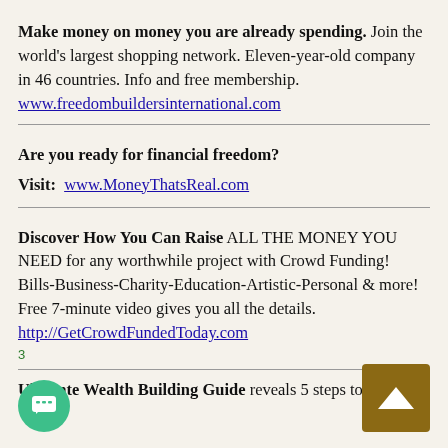Make money on money you are already spending. Join the world's largest shopping network. Eleven-year-old company in 46 countries. Info and free membership. www.freedombuildersinternational.com
Are you ready for financial freedom?
Visit: www.MoneyThatsReal.com
Discover How You Can Raise ALL THE MONEY YOU NEED for any worthwhile project with Crowd Funding! Bills-Business-Charity-Education-Artistic-Personal & more! Free 7-minute video gives you all the details. http://GetCrowdFundedToday.com
Ultimate Wealth Building Guide reveals 5 steps to create